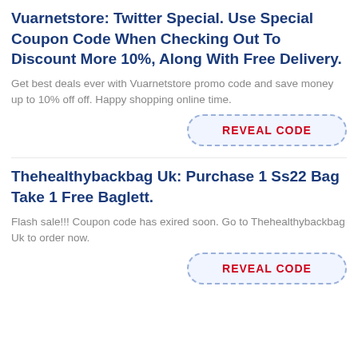Vuarnetstore: Twitter Special. Use Special Coupon Code When Checking Out To Discount More 10%, Along With Free Delivery.
Get best deals ever with Vuarnetstore promo code and save money up to 10% off off. Happy shopping online time.
[Figure (other): REVEAL CODE button with dashed border]
Thehealthybackbag Uk: Purchase 1 Ss22 Bag Take 1 Free Baglett.
Flash sale!!! Coupon code has exired soon. Go to Thehealthybackbag Uk to order now.
[Figure (other): REVEAL CODE button with dashed border]